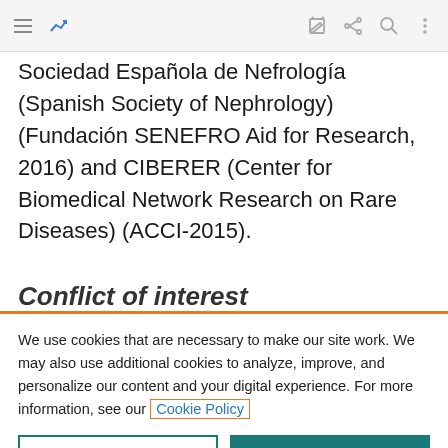[Figure (screenshot): Mobile browser toolbar with hamburger menu, analytics icon (blue), edit icon, share icon, search icon, and more options icon]
Sociedad Española de Nefrología (Spanish Society of Nephrology) (Fundación SENEFRO Aid for Research, 2016) and CIBERER (Center for Biomedical Network Research on Rare Diseases) (ACCI-2015).
Conflict of interest
We use cookies that are necessary to make our site work. We may also use additional cookies to analyze, improve, and personalize our content and your digital experience. For more information, see our Cookie Policy
Cookie settings
Accept all cookies